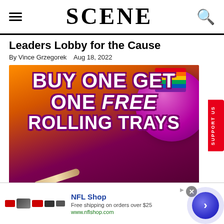SCENE
Leaders Lobby for the Cause
By Vince Grzegorek   Aug 18, 2022
[Figure (photo): Advertisement image with bold white text on colorful background reading BUY ONE GET ONE FREE ROLLING TRAYS, with rolling tray and joint imagery]
NFL Shop
Free shipping on orders over $25
www.nflshop.com